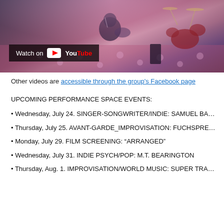[Figure (photo): Musicians performing on stage with drumkit and guitar; a YouTube 'Watch on YouTube' overlay badge is shown in the lower left of the image.]
Other videos are accessible through the group's Facebook page
UPCOMING PERFORMANCE SPACE EVENTS:
• Wednesday, July 24. SINGER-SONGWRITER/INDIE: SAMUEL BA…
• Thursday, July 25. AVANT-GARDE_IMPROVISATION: FUCHSPRE…
• Monday, July 29. FILM SCREENING: “ARRANGED”
• Wednesday, July 31. INDIE PSYCH/POP: M.T. BEARINGTON
• Thursday, Aug. 1. IMPROVISATION/WORLD MUSIC: SUPER TRA…